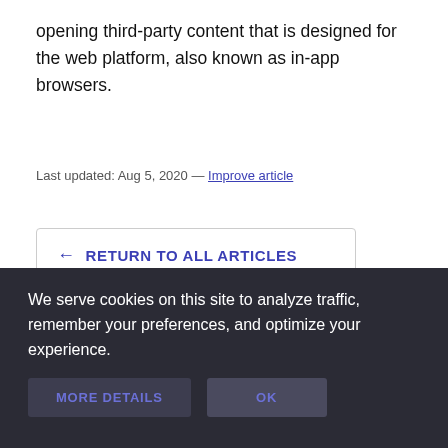opening third-party content that is designed for the web platform, also known as in-app browsers.
Last updated: Aug 5, 2020 — Improve article
← RETURN TO ALL ARTICLES
We serve cookies on this site to analyze traffic, remember your preferences, and optimize your experience.
MORE DETAILS
OK